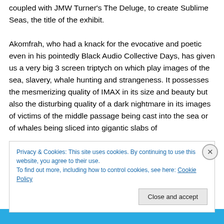John Akomfrah comes to SF MoMA with his Vertigo Sea, coupled with JMW Turner's The Deluge, to create Sublime Seas, the title of the exhibit. Akomfrah, who had a knack for the evocative and poetic even in his pointedly Black Audio Collective Days, has given us a very big 3 screen triptych on which play images of the sea, slavery, whale hunting and strangeness. It possesses the mesmerizing quality of IMAX in its size and beauty but also the disturbing quality of a dark nightmare in its images of victims of the middle passage being cast into the sea or of whales being sliced into gigantic slabs of
Privacy & Cookies: This site uses cookies. By continuing to use this website, you agree to their use.
To find out more, including how to control cookies, see here: Cookie Policy